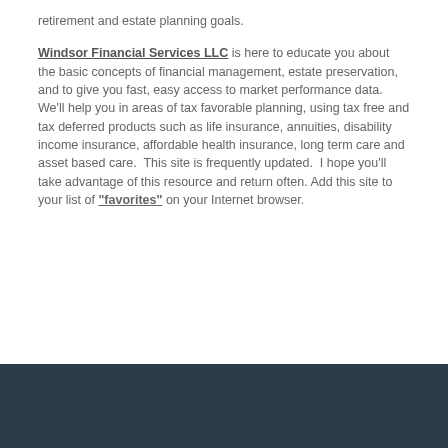retirement and estate planning goals.

Windsor Financial Services LLC is here to educate you about the basic concepts of financial management, estate preservation, and to give you fast, easy access to market performance data. We'll help you in areas of tax favorable planning, using tax free and tax deferred products such as life insurance, annuities, disability income insurance, affordable health insurance, long term care and asset based care.  This site is frequently updated.  I hope you'll take advantage of this resource and return often. Add this site to your list of "favorites" on your Internet browser.